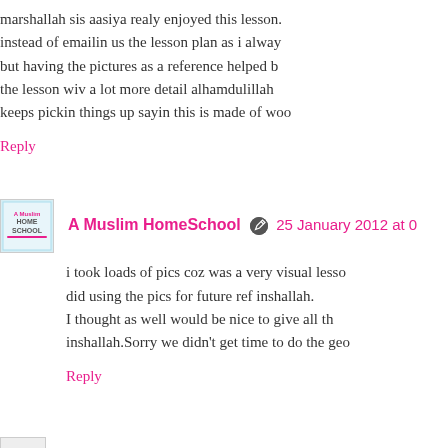marshallah sis aasiya realy enjoyed this lesson. instead of emailin us the lesson plan as i alway but having the pictures as a reference helped b the lesson wiv a lot more detail alhamdulillah keeps pickin things up sayin this is made of woo
Reply
A Muslim HomeSchool  25 January 2012 at 0
i took loads of pics coz was a very visual lesso did using the pics for future ref inshallah.
I thought as well would be nice to give all th inshallah.Sorry we didn't get time to do the geo
Reply
umm aasiiya  25 January 2012 at 05:21